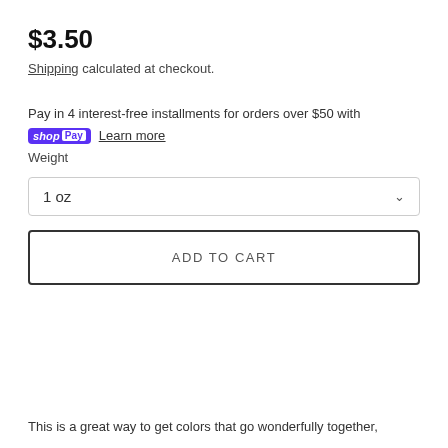$3.50
Shipping calculated at checkout.
Pay in 4 interest-free installments for orders over $50 with shop Pay Learn more
Weight
1 oz
ADD TO CART
This is a great way to get colors that go wonderfully together,